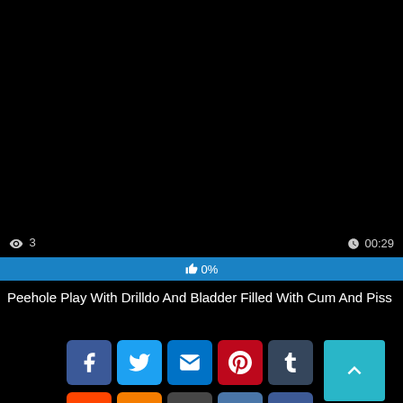[Figure (screenshot): Black video player area]
👁 3   ⏱00:29
[Figure (other): Blue progress bar showing 👍 0%]
Peehole Play With Drilldo And Bladder Filled With Cum And Piss
[Figure (infographic): Social sharing buttons: Facebook, Twitter, Email, Pinterest, Tumblr, Reddit, Blogger, WordPress, VK, Share, and a scroll-to-top button]